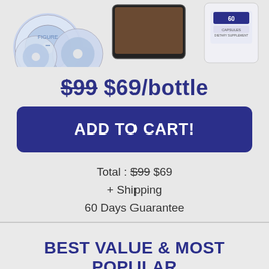[Figure (photo): Product image showing exercise DVDs/CDs, a tablet with a fitness video, and a white supplement bottle labeled 60 Capsules Dietary Supplement]
$99 $69/bottle
ADD TO CART!
Total : $99 $69
+ Shipping
60 Days Guarantee
BEST VALUE & MOST POPULAR